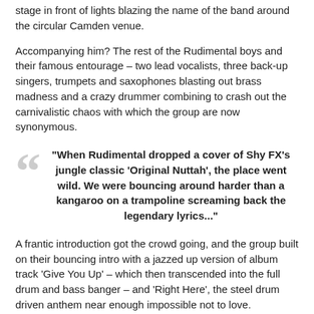stage in front of lights blazing the name of the band around the circular Camden venue.
Accompanying him? The rest of the Rudimental boys and their famous entourage – two lead vocalists, three back-up singers, trumpets and saxophones blasting out brass madness and a crazy drummer combining to crash out the carnivalistic chaos with which the group are now synonymous.
"When Rudimental dropped a cover of Shy FX's jungle classic 'Original Nuttah', the place went wild. We were bouncing around harder than a kangaroo on a trampoline screaming back the legendary lyrics..."
A frantic introduction got the crowd going, and the group built on their bouncing intro with a jazzed up version of album track 'Give You Up' – which then transcended into the full drum and bass banger – and 'Right Here', the steel drum driven anthem near enough impossible not to love.